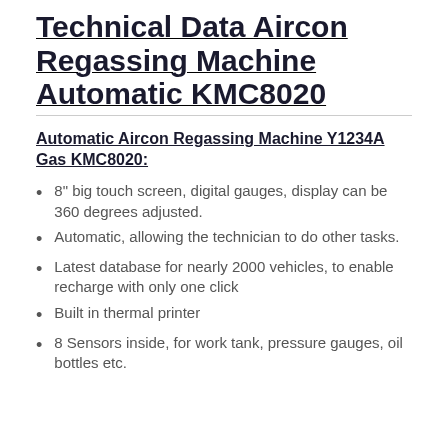Technical Data Aircon Regassing Machine Automatic KMC8020
Automatic Aircon Regassing Machine Y1234A Gas KMC8020:
8" big touch screen, digital gauges, display can be 360 degrees adjusted.
Automatic, allowing the technician to do other tasks.
Latest database for nearly 2000 vehicles, to enable recharge with only one click
Built in thermal printer
8 Sensors inside, for work tank, pressure gauges, oil bottles etc.